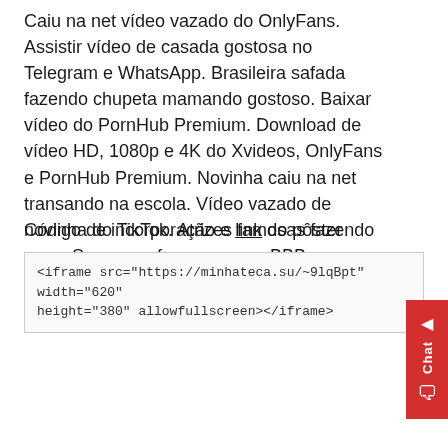Caiu na net vídeo vazado do OnlyFans. Assistir vídeo de casada gostosa no Telegram e WhatsApp. Brasileira safada fazendo chupeta mamando gostoso. Baixar vídeo do PornHub Premium. Download de vídeo HD, 1080p e 4K do Xvideos, OnlyFans e PornHub Premium. Novinha caiu na net transando na escola. Vídeo vazado de novinha do TikTok. Atrizes famosas fazendo sexo. Sexo com famosas e ex-BBBs.
Código de incorporação e link do pôster
<iframe src="https://minhateca.su/~9lqBpt" width="620" height="380" allowfullscreen></iframe>